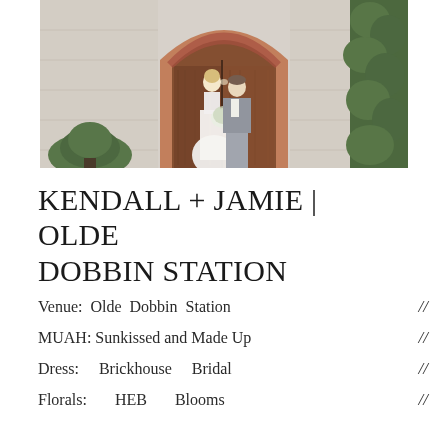[Figure (photo): Wedding couple kissing in front of large wooden arched doors set in a stone/brick wall. Bride in white gown holding white floral bouquet, groom in grey suit. Green hedge/bushes visible on right side.]
KENDALL + JAMIE | OLDE DOBBIN STATION
Venue:  Olde  Dobbin  Station  //
MUAH: Sunkissed and Made Up //
Dress:      Brickhouse      Bridal      //
Florals:       HEB       Blooms       //